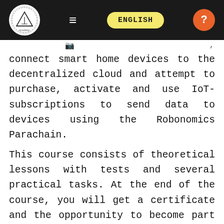Robonomics Academy — ENGLISH navigation bar
connect smart home devices to the decentralized cloud and attempt to purchase, activate and use IoT-subscriptions to send data to devices using the Robonomics Parachain.
This course consists of theoretical lessons with tests and several practical tasks. At the end of the course, you will get a certificate and the opportunity to become part of